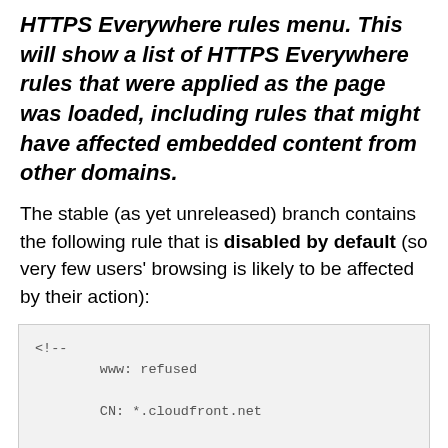HTTPS Everywhere rules menu. This will show a list of HTTPS Everywhere rules that were applied as the page was loaded, including rules that might have affected embedded content from other domains.
The stable (as yet unreleased) branch contains the following rule that is disabled by default (so very few users' browsing is likely to be affected by their action):
[Figure (screenshot): Code block showing XML ruleset snippet: a comment with 'www: refused' and 'CN: *.cloudfront.net', followed by a ruleset element with name='Heartbleed.com' default_off attribute, and two target elements for heartbleed.com and www.heartbleed.com]